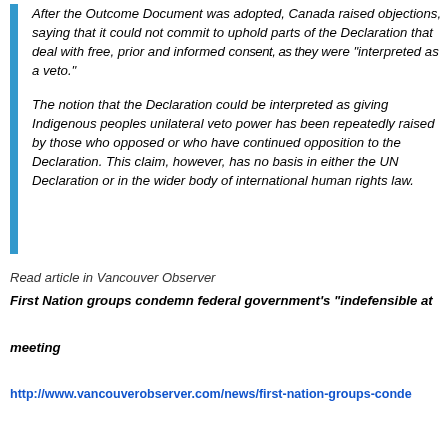After the Outcome Document was adopted, Canada raised objections, saying that it could not commit to uphold parts of the Declaration that deal with free, prior and informed consent, as they were "interpreted as a veto."

The notion that the Declaration could be interpreted as giving Indigenous peoples unilateral veto power has been repeatedly raised by those who opposed or who have continued opposition to the Declaration. This claim, however, has no basis in either the UN Declaration or in the wider body of international human rights law.
Read article in Vancouver Observer
First Nation groups condemn federal government's "indefensible at
meeting
http://www.vancouverobserver.com/news/first-nation-groups-conde